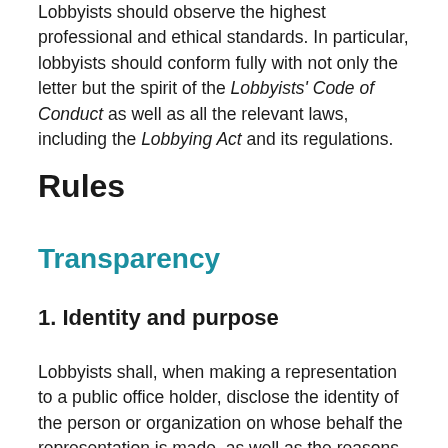Lobbyists should observe the highest professional and ethical standards. In particular, lobbyists should conform fully with not only the letter but the spirit of the Lobbyists' Code of Conduct as well as all the relevant laws, including the Lobbying Act and its regulations.
Rules
Transparency
1. Identity and purpose
Lobbyists shall, when making a representation to a public office holder, disclose the identity of the person or organization on whose behalf the representation is made, as well as the reasons